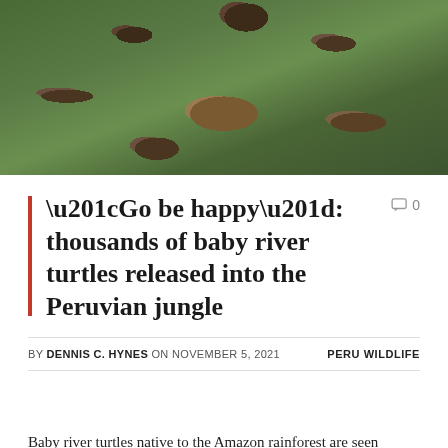[Figure (photo): Aerial view of multiple baby river turtles seen from above, floating in greenish water with aquatic vegetation. The turtles show patterned shells in shades of brown and dark markings.]
“Go be happy”: thousands of baby river turtles released into the Peruvian jungle
BY DENNIS C. HYNES ON NOVEMBER 5, 2021    PERU WILDLIFE
Baby river turtles native to the Amazon rainforest are seen before being released in Iquitos, Peru, November 4, 2021.